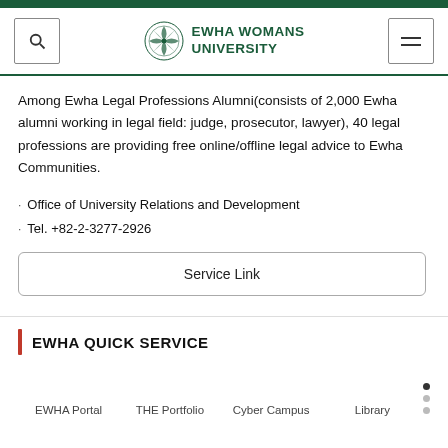EWHA WOMANS UNIVERSITY
Among Ewha Legal Professions Alumni(consists of 2,000 Ewha alumni working in legal field: judge, prosecutor, lawyer), 40 legal professions are providing free online/offline legal advice to Ewha Communities.
Office of University Relations and Development
Tel. +82-2-3277-2926
Service Link
EWHA QUICK SERVICE
EWHA Portal   THE Portfolio   Cyber Campus   Library